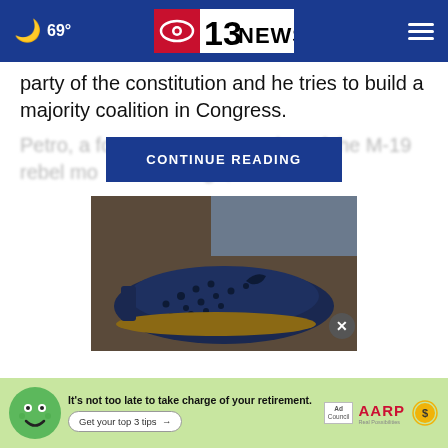69° — CBS 13NEWS navigation header
party of the constitution and he tries to build a majority coalition in Congress.
Petro, a former … ember of the M-19 rebel mo… ago, has won
[Figure (other): CONTINUE READING button overlay on blurred article text]
[Figure (photo): Close-up photo of dark navy blue cutout/perforated flat sandal shoes worn by a person in jeans, on rocky background. X close button visible.]
[Figure (infographic): AARP advertisement banner: green background with cartoon face character, text 'It's not too late to take charge of your retirement. Get your top 3 tips →', Ad Council badge, AARP logo, and sun icon.]